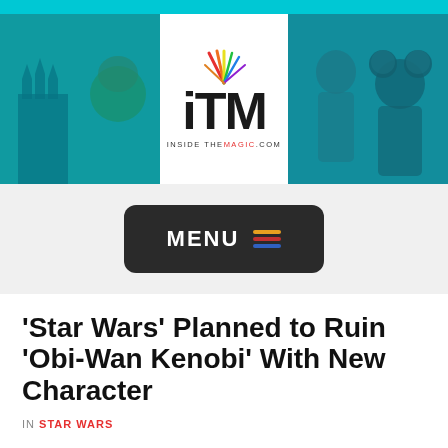[Figure (illustration): InsideTheMagic.com (ITM) website header banner with logo, castle image on left, character images on right, cyan top bar]
[Figure (screenshot): Dark rounded rectangle MENU button with three colored horizontal lines (hamburger icon) on grey background]
'Star Wars' Planned to Ruin 'Obi-Wan Kenobi' With New Character
IN STAR WARS